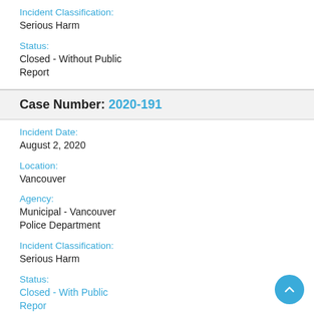Incident Classification:
Serious Harm
Status:
Closed - Without Public Report
Case Number: 2020-191
Incident Date:
August 2, 2020
Location:
Vancouver
Agency:
Municipal - Vancouver Police Department
Incident Classification:
Serious Harm
Status:
Closed - With Public Report